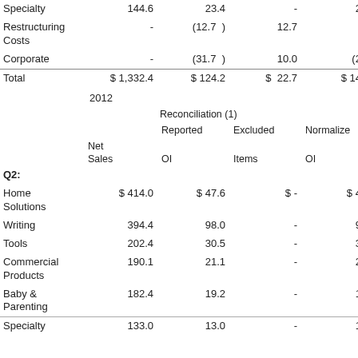|  | Net Sales | Reported OI | Excluded Items | Normalized OI |
| --- | --- | --- | --- | --- |
| Specialty | 144.6 | 23.4 | - | 23.4 |
| Restructuring Costs | - | (12.7 ) | 12.7 | - |
| Corporate | - | (31.7 ) | 10.0 | (21.7 |
| Total | $ 1,332.4 | $ 124.2 | $ 22.7 | $ 146.9 |
| 2012 |  |  |  |  |
|  |  | Reconciliation (1) |  |  |
|  |  | Reported OI | Excluded Items | Normalized OI |
|  | Net Sales | OI | Items | OI |
| Q2: |  |  |  |  |
| Home Solutions | $ 414.0 | $ 47.6 | $ - | $ 47.6 |
| Writing | 394.4 | 98.0 | - | 98.0 |
| Tools | 202.4 | 30.5 | - | 30.5 |
| Commercial Products | 190.1 | 21.1 | - | 21.1 |
| Baby & Parenting | 182.4 | 19.2 | - | 19.2 |
| Specialty | 133.0 | 13.0 | - | 13.0 |